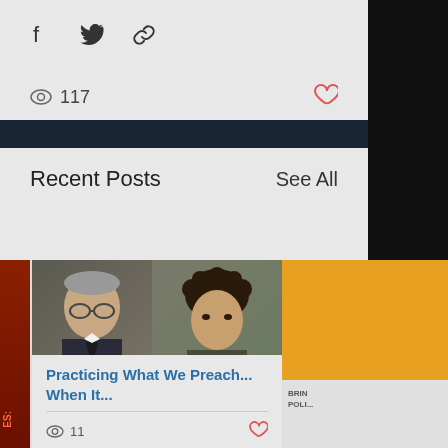[Figure (screenshot): Share buttons: Facebook icon, Twitter icon, link icon]
117
Recent Posts
See All
[Figure (photo): Two people side by side: older man with glasses on left, younger man with curly hair on right]
Practicing What We Preach... When It...
11